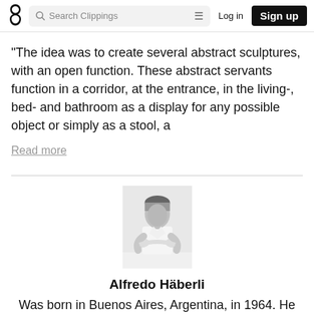Search Clippings | Log in | Sign up
"The idea was to create several abstract sculptures, with an open function. These abstract servants function in a corridor, at the entrance, in the living-, bed- and bathroom as a display for any possible object or simply as a stool, a
Read more
[Figure (photo): Black and white portrait photo of Alfredo Häberli, a man in a white shirt with arms crossed, seated at a white surface.]
Alfredo Häberli
Was born in Buenos Aires, Argentina, in 1964. He moved